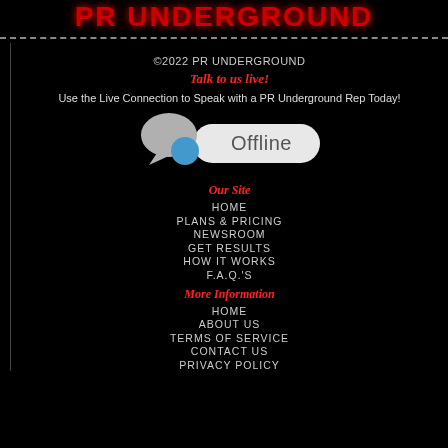PR UNDERGROUND
©2022 PR UNDERGROUND
Talk to us live!
Use the Live Connection to Speak with a PR Underground Rep Today!
[Figure (illustration): Chat bubble offline widget showing two overlapping speech bubbles (grey and blue) next to a pill-shaped button with 'Offline' text]
Our Site
HOME
PLANS & PRICING
NEWSROOM
GET RESULTS
HOW IT WORKS
F.A.Q.'S
More Information
HOME
ABOUT US
TERMS OF SERVICE
CONTACT US
PRIVACY POLICY